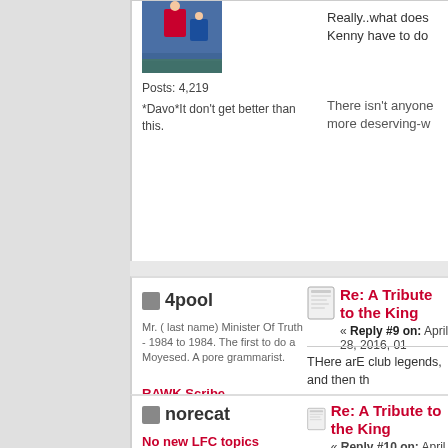[Figure (photo): Liverpool player avatar photo]
Posts: 4,219
*Davo*It don't get better than this.
Really..what does Kenny have to do
There isn't anyone more deserving-w
4pool
Mr. ( last name) Minister Of Truth - 1984 to 1984. The first to do a Moyesed. A pore grammarist.
RAWK Scribe
Legacy Fan
★★★★★
[Figure (photo): 4pool avatar - faces on red background]
Posts: 49,378
Liverpool: European Capital of Football 2005/2006
Re: A Tribute to the King
« Reply #9 on: April 28, 2016, 01
THere arE club legends, and then th
Either we are a club of supporters or become
norecat
No new LFC topics
Kopite
Re: A Tribute to the King
« Reply #10 on: April 28, 2016, 0